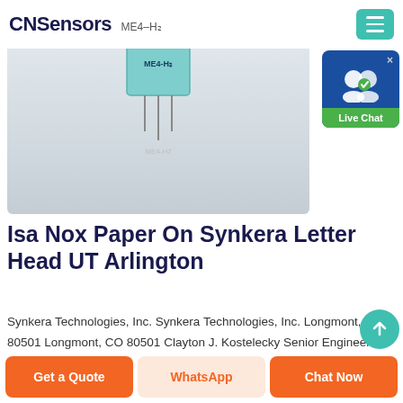CNSensors ME4-H2
[Figure (photo): Close-up photo of a ME4-H2 hydrogen gas sensor module on a light gray background]
[Figure (other): Live Chat button widget with blue background and green label]
Isa Nox Paper On Synkera Letter Head UT Arlington
Synkera Technologies, Inc. Synkera Technologies, Inc. Longmont, CO 80501 Longmont, CO 80501 Clayton J. Kostelecky Senior Engineer Synkera Technologies, Inc. Longmont, CO 80501 KEYWORDS NOx, Sensors, metal oxide, chemiresistor ABSTRACT The environment d
Get a Quote | WhatsApp | Chat Now